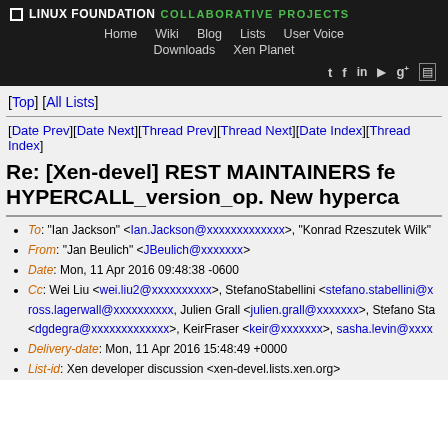LINUX FOUNDATION COLLABORATIVE PROJECTS — Home Wiki Blog Lists User Voice Downloads Xen Planet
[Top] [All Lists]
[Date Prev][Date Next][Thread Prev][Thread Next][Date Index][Thread Index]
Re: [Xen-devel] REST MAINTAINERS fe... HYPERCALL_version_op. New hyperca...
To: "Ian Jackson" <Ian.Jackson@xxxxxxxxxxxxx>, "Konrad Rzeszutek Wilk"
From: "Jan Beulich" <JBeulich@xxxxxxx>
Date: Mon, 11 Apr 2016 09:48:38 -0600
Cc: Wei Liu <wei.liu2@xxxxxxxxxx>, StefanoStabellini <stefano.stabellini@x... ross.lagerwall@xxxxxxxxxx, Julien Grall <julien.grall@xxxxxxx>, Stefano Sta... <dgdegra@xxxxxxxxxxxxx>, KeirFraser <keir@xxxxxxx>, sasha.levin@xxxx
Delivery-date: Mon, 11 Apr 2016 15:48:49 +0000
List-id: Xen developer discussion <xen-devel.lists.xen.org>